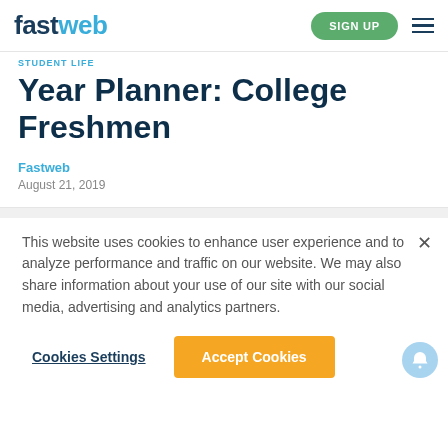fastweb | SIGN UP
STUDENT LIFE
Year Planner: College Freshmen
Fastweb
August 21, 2019
This website uses cookies to enhance user experience and to analyze performance and traffic on our website. We may also share information about your use of our site with our social media, advertising and analytics partners.
Cookies Settings  Accept Cookies